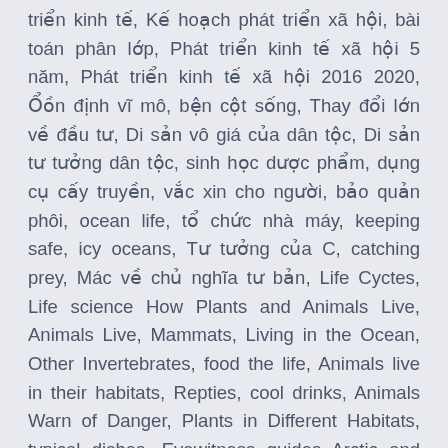triển kinh tế, Kế hoạch phát triển xã hội, bài toán phân lớp, Phát triển kinh tế xã hội 5 năm, Phát triển kinh tế xã hội 2016 2020, Ổổn định vĩ mô, bện cột sống, Thay đổi lớn về đầu tư, Di sản vô giá của dân tộc, Di sản tư tưởng dân tộc, sinh học dược phẩm, dụng cụ cấy truyền, vắc xin cho người, bảo quản phôi, ocean life, tổ chức nhà máy, keeping safe, icy oceans, Tư tưởng của C, catching prey, Mác về chủ nghĩa tư bản, Life Cyctes, Life science How Plants and Animals Live, Animals Live, Mammats, Living in the Ocean, Other Invertebrates, food the life, Animals live in their habitats, Repties, cool drinks, Animals Warn of Danger, Plants in Different Habitats, typical dishes, Eyewitness guides Arctic and Antarctic, food origins, life in the Antarctic ocean, Adaptable animals, Birds of the Arctic, Emperors of the Antarctic, Discover the Arctic, Non thermal technologies, Extending shelf life of food products, RURAL SOCIETY, ENGINEERING LIFE, FOOD CRISIS, ẩm thực châu âu, Refrigeration machines, Protecting